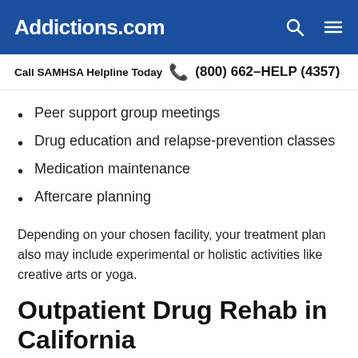Addictions.com
Call SAMHSA Helpline Today  (800) 662-HELP (4357)
Peer support group meetings
Drug education and relapse-prevention classes
Medication maintenance
Aftercare planning
Depending on your chosen facility, your treatment plan also may include experimental or holistic activities like creative arts or yoga.
Outpatient Drug Rehab in California